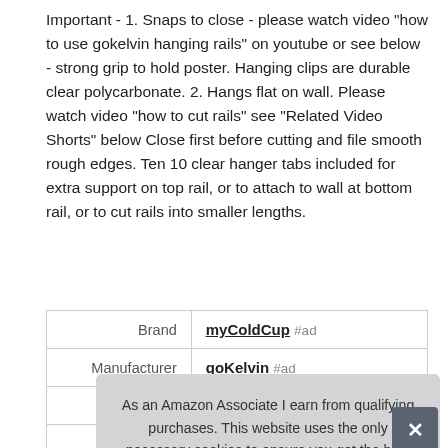Important - 1. Snaps to close - please watch video "how to use gokelvin hanging rails" on youtube or see below - strong grip to hold poster. Hanging clips are durable clear polycarbonate. 2. Hangs flat on wall. Please watch video "how to cut rails" see "Related Video Shorts" below Close first before cutting and file smooth rough edges. Ten 10 clear hanger tabs included for extra support on top rail, or to attach to wall at bottom rail, or to cut rails into smaller lengths.
|  |  |
| --- | --- |
| Brand | myColdCup #ad |
| Manufacturer | goKelvin #ad |
| Weight | 0.38 Pounds |
| P |  |
As an Amazon Associate I earn from qualifying purchases. This website uses the only necessary cookies to ensure you get the best experience on our website. More information